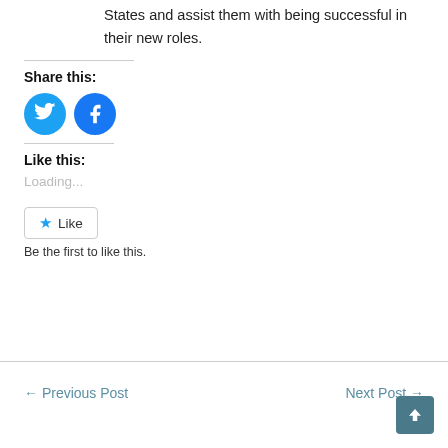States and assist them with being successful in their new roles.
Share this:
[Figure (illustration): Twitter and Facebook social sharing icon buttons (circular blue icons)]
Like this:
Loading...
[Figure (illustration): Like button with star icon]
Be the first to like this.
← Previous Post
Next Post →